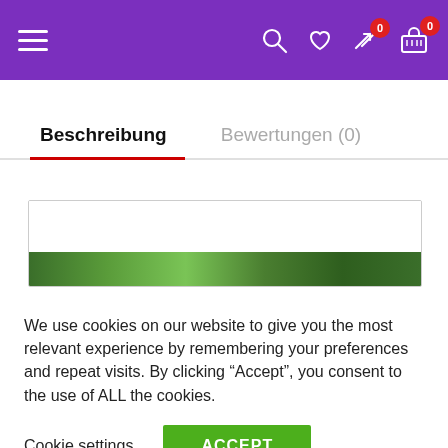[Figure (screenshot): Purple navigation bar with hamburger menu on left and icons (search, heart/wishlist, compare with badge 0, shopping cart with badge 0) on right]
Beschreibung
Bewertungen (0)
[Figure (photo): Partial image showing green foliage/leaves at the bottom, inside a bordered box]
We use cookies on our website to give you the most relevant experience by remembering your preferences and repeat visits. By clicking “Accept”, you consent to the use of ALL the cookies.
Cookie settings
ACCEPT